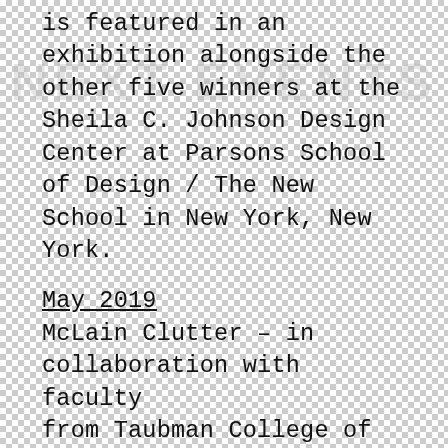is featured in an exhibition alongside the other five winners at the Sheila C. Johnson Design Center at Parsons School of Design / The New School in New York, New York.
May 2019
McLain Clutter – in collaboration with faculty from Taubman College of Architecture + Urban Planning and the U-M Digital Studies Institute – co-organized Living A